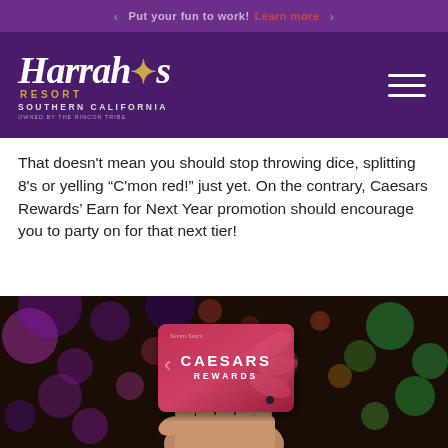Put your fun to work! Learn more
[Figure (logo): Harrah's Resort Southern California logo — white italic text with gold star and gold RESORT text, tagline 'OWNED BY THE RINCON TRIBE']
That doesn't mean you should stop throwing dice, splitting 8's or yelling “C'mon red!” just yet. On the contrary, Caesars Rewards' Earn for Next Year promotion should encourage you to party on for that next tier!
[Figure (photo): A hand holding a red Caesars Rewards loyalty card with bokeh colorful lights in the background]